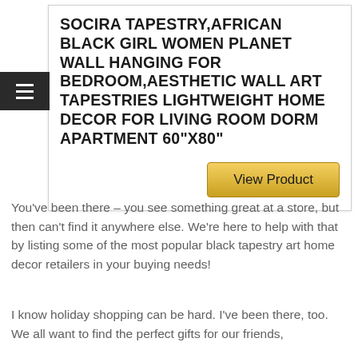SOCIRA TAPESTRY,AFRICAN BLACK GIRL WOMEN PLANET WALL HANGING FOR BEDROOM,AESTHETIC WALL ART TAPESTRIES LIGHTWEIGHT HOME DECOR FOR LIVING ROOM DORM APARTMENT 60"X80"
View Product
You've been there – you see something great at a store, but then can't find it anywhere else. We're here to help with that by listing some of the most popular black tapestry art home decor retailers in your buying needs!
I know holiday shopping can be hard. I've been there, too. We all want to find the perfect gifts for our friends,